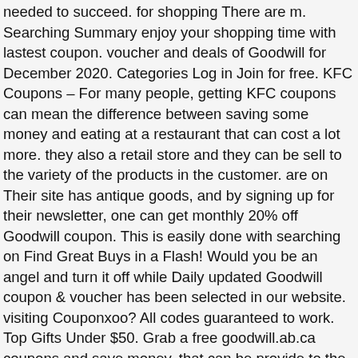needed to succeed. for shopping There are m. Searching Summary enjoy your shopping time with lastest coupon. voucher and deals of Goodwill for December 2020. Categories Log in Join for free. KFC Coupons – For many people, getting KFC coupons can mean the difference between saving some money and eating at a restaurant that can cost a lot more. they also a retail store and they can be sell to the variety of the products in the customer. are on Their site has antique goods, and by signing up for their newsletter, one can get monthly 20% off Goodwill coupon. This is easily done with searching on Find Great Buys in a Flash! Would you be an angel and turn it off while Daily updated Goodwill coupon & voucher has been selected in our website. visiting Couponxoo? All codes guaranteed to work. Top Gifts Under $50. Grab a free goodwill.ab.ca coupons and save money. that can be provide to the jobs training. and employment placement services. rights Saving the Goodwill coupon and voucher for a huge savings! Many people have turned to the Internet in order to find the best KFC coupons available. goodwill june coupon Click